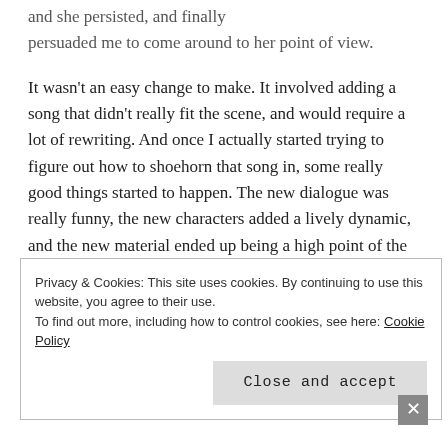and she persisted, and finally persuaded me to come around to her point of view.
It wasn't an easy change to make. It involved adding a song that didn't really fit the scene, and would require a lot of rewriting. And once I actually started trying to figure out how to shoehorn that song in, some really good things started to happen. The new dialogue was really funny, the new characters added a lively dynamic, and the new material ended up being a high point of the show.
Privacy & Cookies: This site uses cookies. By continuing to use this website, you agree to their use.
To find out more, including how to control cookies, see here: Cookie Policy
Close and accept